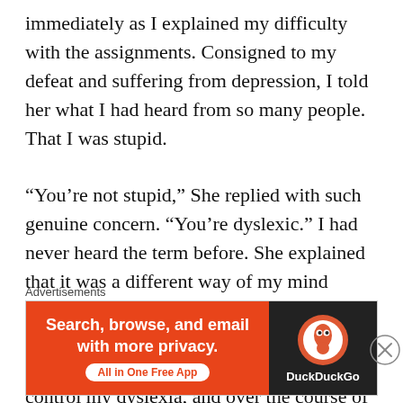immediately as I explained my difficulty with the assignments. Consigned to my defeat and suffering from depression, I told her what I had heard from so many people. That I was stupid.

“You’re not stupid,” She replied with such genuine concern. “You’re dyslexic.” I had never heard the term before. She explained that it was a different way of my mind working, where I interepreted information in ways that other neurotypical people didn’t. She began to teach me techniques to control my dyslexia, and over the course of that school year, my reading level went from below first grade to college level. I could finally grasp the magnitude of written language, and I was so
Advertisements
[Figure (other): DuckDuckGo advertisement banner with orange left panel reading 'Search, browse, and email with more privacy. All in One Free App' and dark right panel showing DuckDuckGo logo and name.]